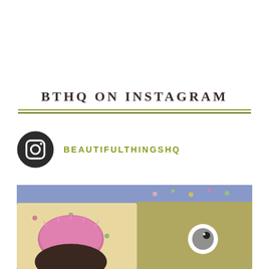BTHQ ON INSTAGRAM
BEAUTIFULTHINGSHQ
[Figure (photo): Instagram photo showing colorful stuffed animal toys/pillows — one with pink fuzzy hair and dark body, another in olive/yellow-green with a googly eye, against a floral fabric background.]